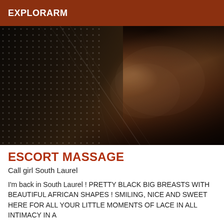EXPLORARM
[Figure (photo): Close-up photo of a woman wearing black lace lingerie]
ESCORT MASSAGE
Call girl South Laurel
I'm back in South Laurel ! PRETTY BLACK BIG BREASTS WITH BEAUTIFUL AFRICAN SHAPES ! SMILING, NICE AND SWEET HERE FOR ALL YOUR LITTLE MOMENTS OF LACE IN ALL INTIMACY IN A